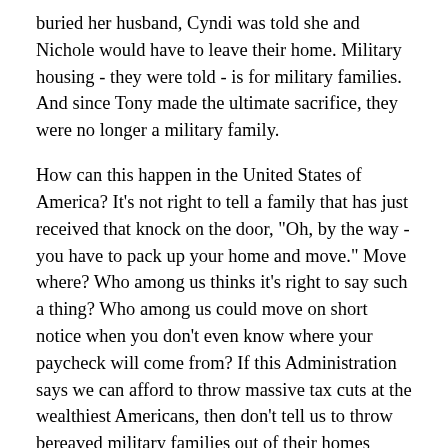buried her husband, Cyndi was told she and Nichole would have to leave their home. Military housing - they were told - is for military families. And since Tony made the ultimate sacrifice, they were no longer a military family.
How can this happen in the United States of America? It's not right to tell a family that has just received that knock on the door, "Oh, by the way - you have to pack up your home and move." Move where? Who among us thinks it's right to say such a thing? Who among us could move on short notice when you don't even know where your paycheck will come from? If this Administration says we can afford to throw massive tax cuts at the wealthiest Americans, then don't tell us to throw bereaved military families out of their homes without a chance to pull life back together.
So the Military Family Bill of Rights, will allow the spouses and children of those killed in action to remain in military housing for up to a year after the loss of a loved one. It will offer help to move on to a new life. It will provide one year of pay to military dependents of soldiers killed in action. It will make